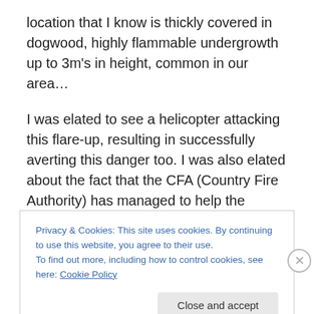location that I know is thickly covered in dogwood, highly flammable undergrowth up to 3m's in height, common in our area…
I was elated to see a helicopter attacking this flare-up, resulting in successfully averting this danger too. I was also elated about the fact that the CFA (Country Fire Authority) has managed to help the residents of Cobungra in time to stop things from escalating, especially after what they had already been through! A firetruck would have had no access to that area due to dense bushes and steep
Privacy & Cookies: This site uses cookies. By continuing to use this website, you agree to their use.
To find out more, including how to control cookies, see here: Cookie Policy